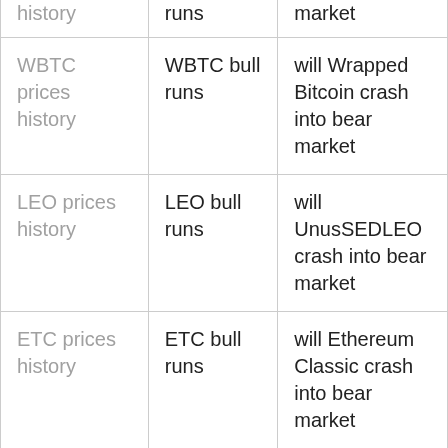| history | runs | market |
| WBTC prices history | WBTC bull runs | will Wrapped Bitcoin crash into bear market |
| LEO prices history | LEO bull runs | will UnusSEDLEO crash into bear market |
| ETC prices history | ETC bull runs | will Ethereum Classic crash into bear market |
| OKB prices history | OKB bull runs | will OKB crash into bear market |
| LTC prices... | LTC bull... | will Litecoin... |